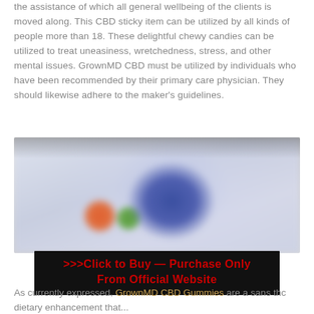the assistance of which all general wellbeing of the clients is moved along. This CBD sticky item can be utilized by all kinds of people more than 18. These delightful chewy candies can be utilized to treat uneasiness, wretchedness, stress, and other mental issues. GrownMD CBD must be utilized by individuals who have been recommended by their primary care physician. They should likewise adhere to the maker's guidelines.
[Figure (photo): Blurred product photo showing CBD gummy bottles/containers, with orange and green gummies visible in the foreground and a blue container in the center background.]
>>>Click to Buy — Purchase Only From Official Website
As currently expressed, GrownMD CBD Gummies are a sans thc dietary enhancement that...